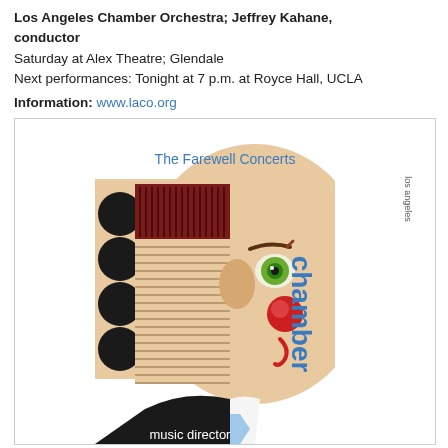Los Angeles Chamber Orchestra; Jeffrey Kahane, conductor
Saturday at Alex Theatre; Glendale
Next performances: Tonight at 7 p.m. at Royce Hall, UCLA
Information: www.laco.org
[Figure (illustration): Los Angeles Chamber Orchestra promotional poster for 'The Farewell Concerts' featuring a stylized graphic illustration of a conductor's face in profile, with accordion-like hair on the left half, a green eye, red nose, and the text 'los angeles chamber orchestra' vertically on the right side, and 'music director' text at the bottom.]